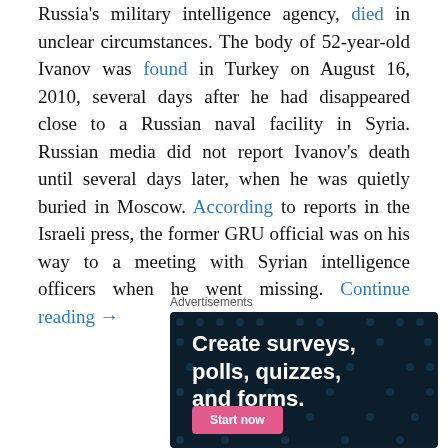Russia's military intelligence agency, died in unclear circumstances. The body of 52-year-old Ivanov was found in Turkey on August 16, 2010, several days after he had disappeared close to a Russian naval facility in Syria. Russian media did not report Ivanov's death until several days later, when he was quietly buried in Moscow. According to reports in the Israeli press, the former GRU official was on his way to a meeting with Syrian intelligence officers when he went missing. Continue reading →
Advertisements
[Figure (other): Advertisement banner with dark navy background and dot pattern. Text reads 'Create surveys, polls, quizzes, and forms.' with a pink 'Start now' button.]